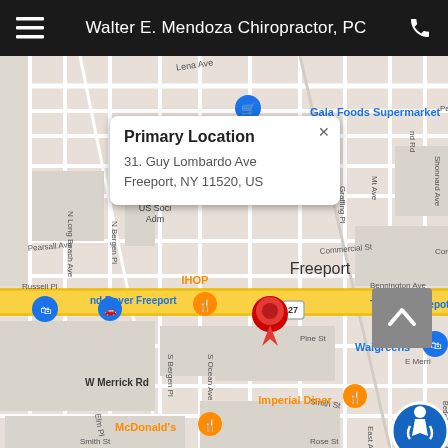Walter E. Mendoza Chiropractor, PC
[Figure (map): Google Maps screenshot showing Freeport, NY area with streets including S Ocean Ave, S Bergen Pl, Pine St, W Merrick Rd, Smith St, Rose St. Notable landmarks visible: Gala Foods Supermarket, IHOP, The Home Depot, Walgreens, Imperial Diner, McDonald's, US Social Administration building, nd Rover Freeport. A red location pin marks 31 Guy Lombardo Ave. An info card popup shows 'Primary Location' at '31. Guy Lombardo Ave, Freeport, NY 11520, US'. Route 27 highway shown as yellow band crossing horizontally. Accessibility icon and scroll-up button visible in bottom-right corner.]
Primary Location
31. Guy Lombardo Ave
Freeport, NY 11520, US